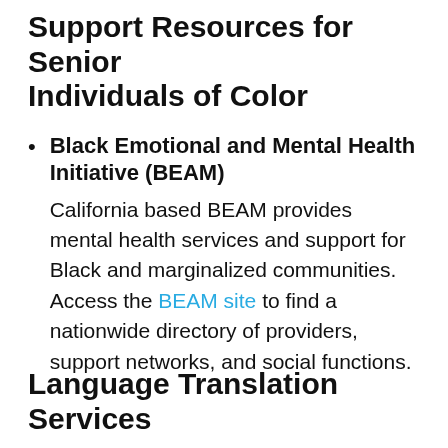Support Resources for Senior Individuals of Color
Black Emotional and Mental Health Initiative (BEAM)
California based BEAM provides mental health services and support for Black and marginalized communities. Access the BEAM site to find a nationwide directory of providers, support networks, and social functions.
Language Translation Services